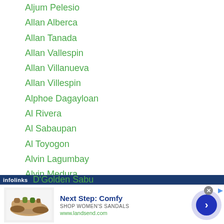Aljum Pelesio
Allan Alberca
Allan Tanada
Allan Vallespin
Allan Villanueva
Allan Villespin
Alphoe Dagayloan
Al Rivera
Al Sabaupan
Al Toyogon
Alvin Lagumbay
Alvin Medura
Aman Kazankapov
Amin Sor Wangmoo
Amnat Ruenroeng
D'Golden Sabu
[Figure (screenshot): Advertisement banner: 'Next Step: Comfy - SHOP WOMEN'S SANDALS - www.landsend.com' with shoe image and infolinks bar]